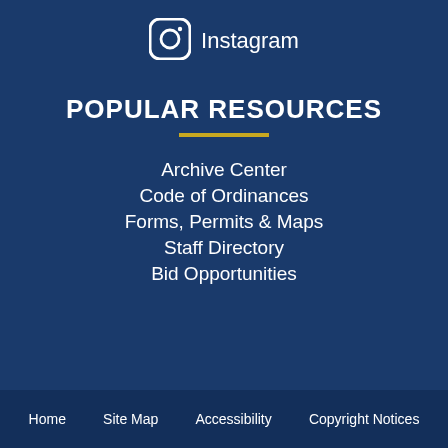[Figure (logo): Instagram icon (circle with camera outline) in white]
Instagram
POPULAR RESOURCES
Archive Center
Code of Ordinances
Forms, Permits & Maps
Staff Directory
Bid Opportunities
Home   Site Map   Accessibility   Copyright Notices